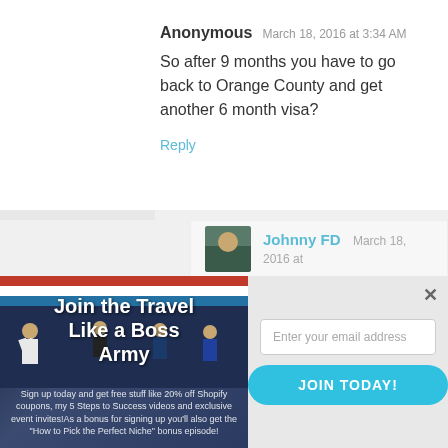Anonymous  March 18, 2016 at 3:34 AM
So after 9 months you have to go back to Orange County and get another 6 month visa?
Reply
Johnny FD  March 18, 2016 at
[Figure (screenshot): Email signup modal popup with 'Join the Travel Like a Boss Army' promotional image on the left with people in martial arts uniforms, and an email input field and 'JOIN TODAY!' button on the right]
Sign up today and get free stuff like 20% off Shopify coupons, my 5 Steps to Success videos and exclusive event invites!As a bonus for signing up you'll also get the "How to Pick the Perfect Niche" bonus episode!
Enter your email address
JOIN TODAY!